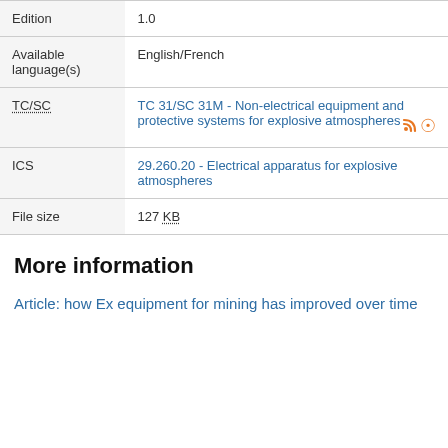| Edition | 1.0 |
| Available language(s) | English/French |
| TC/SC | TC 31/SC 31M - Non-electrical equipment and protective systems for explosive atmospheres |
| ICS | 29.260.20 - Electrical apparatus for explosive atmospheres |
| File size | 127 KB |
More information
Article: how Ex equipment for mining has improved over time